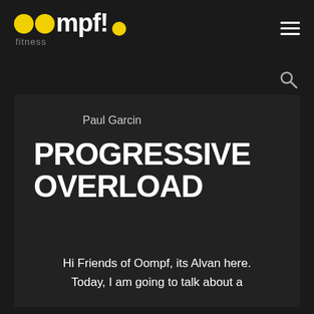[Figure (logo): Oompf! Fitness logo with yellow circular letter-Os and yellow dot, with 'fitness' text below]
[Figure (other): Hamburger menu icon (three horizontal white lines)]
[Figure (other): Search (magnifying glass) icon]
Paul Garcin
PROGRESSIVE OVERLOAD
Hi Friends of Oompf, its Alvan here. Today, I am going to talk about a